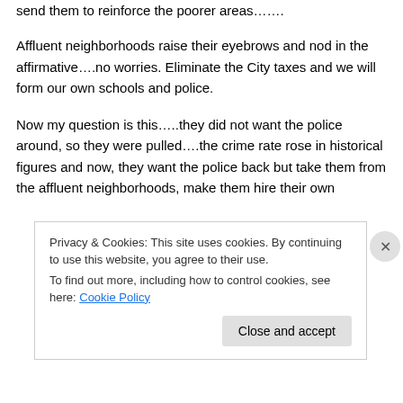send them to reinforce the poorer areas…….
Affluent neighborhoods raise their eyebrows and nod in the affirmative….no worries. Eliminate the City taxes and we will form our own schools and police.
Now my question is this…..they did not want the police around, so they were pulled….the crime rate rose in historical figures and now, they want the police back but take them from the affluent neighborhoods, make them hire their own
Privacy & Cookies: This site uses cookies. By continuing to use this website, you agree to their use.
To find out more, including how to control cookies, see here: Cookie Policy